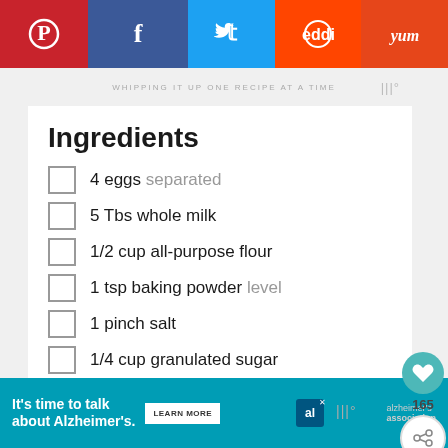[Figure (screenshot): Social media sharing buttons: Pinterest (red), Facebook (dark blue), Twitter (light blue), Reddit (blue), Yummly (orange)]
WHIPPING IT UP ONE RECIPE AT A TIME
Ingredients
4 eggs separated
5 Tbs whole milk
1/2 cup all-purpose flour
1 tsp baking powder level
1 pinch salt
1/4 cup granulated sugar
1 Tbs vegetable oil
Some water for cooking
[Figure (photo): Advertisement with person photo and quote: I didn't understand]
It's time to talk about Alzheimer's. LEARN MORE